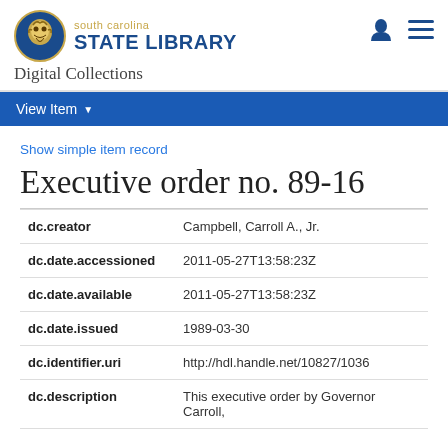south carolina STATE LIBRARY Digital Collections
View Item
Show simple item record
Executive order no. 89-16
| Field | Value |
| --- | --- |
| dc.creator | Campbell, Carroll A., Jr. |
| dc.date.accessioned | 2011-05-27T13:58:23Z |
| dc.date.available | 2011-05-27T13:58:23Z |
| dc.date.issued | 1989-03-30 |
| dc.identifier.uri | http://hdl.handle.net/10827/1036 |
| dc.description | This executive order by Governor Carroll, |